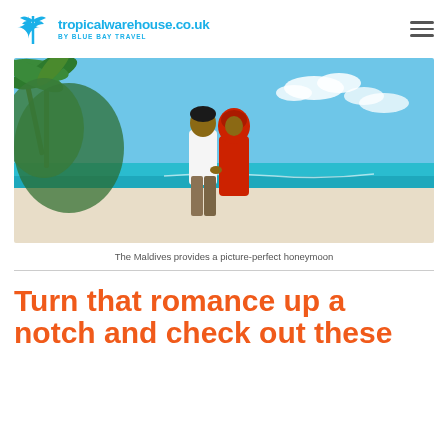tropicalwarehouse.co.uk BY BLUE BAY TRAVEL
[Figure (photo): A couple walking hand in hand on a tropical beach in the Maldives. The man wears a white shirt and brown trousers; the woman wears a red hijab and red dress. Palm trees are visible on the left, turquoise ocean and blue sky in the background.]
The Maldives provides a picture-perfect honeymoon
Turn that romance up a notch and check out these